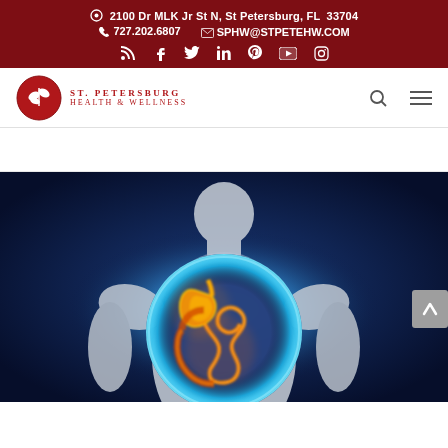2100 Dr MLK Jr St N, St Petersburg, FL 33704 | 727.202.6807 | SPHW@STPETEHW.COM
[Figure (logo): St. Petersburg Health & Wellness logo — red circle with white leaf/plant icon, text 'St. Petersburg Health & Wellness' in red serif letters]
[Figure (photo): Medical illustration of a human torso with a glowing anatomical view of the digestive system — stomach and intestines shown in orange/yellow against a blue illuminated circular background, 3D render style]